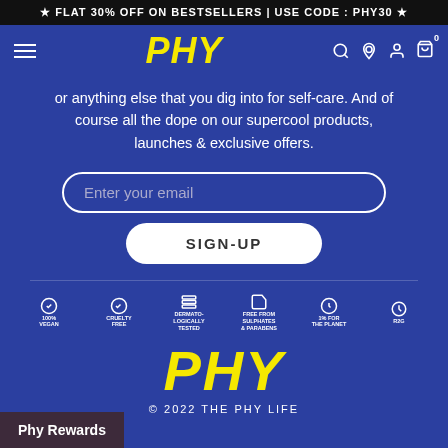★ FLAT 30% OFF ON BESTSELLERS | USE CODE : PHY30 ★
[Figure (logo): PHY brand logo in yellow italic bold text in navigation bar]
or anything else that you dig into for self-care. And of course all the dope on our supercool products, launches & exclusive offers.
Enter your email
SIGN-UP
[Figure (infographic): Six badges: 100% Vegan, Cruelty Free, Dermatologically Tested for Safety, Free from Sulphates & Parabens, 1% for the Planet, R2G]
[Figure (logo): PHY large footer logo in yellow italic bold text]
© 2022 THE PHY LIFE
Phy Rewards